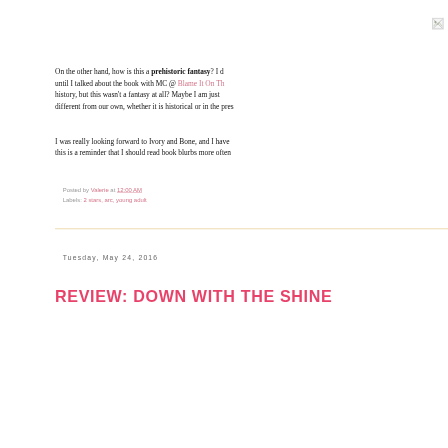[Figure (other): Broken/missing image icon in top right corner]
On the other hand, how is this a prehistoric fantasy? I didn't realize until I talked about the book with MC @ Blame It On The Books. I mean, history, but this wasn't a fantasy at all? Maybe I am just... different from our own, whether it is historical or in the pres...
I was really looking forward to Ivory and Bone, and I have... this is a reminder that I should read book blurbs more often...
Posted by Valerie at 12:00 AM
Labels: 2 stars, arc, young adult
Tuesday, May 24, 2016
REVIEW: DOWN WITH THE SHINE